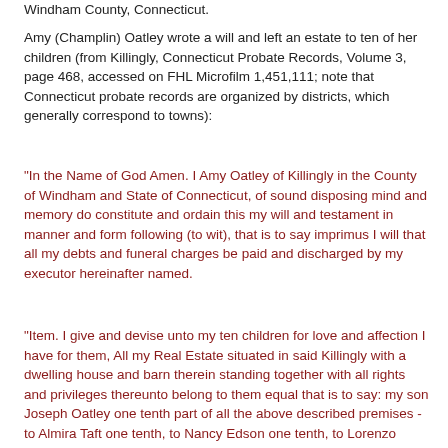Windham County, Connecticut.
Amy (Champlin) Oatley wrote a will and left an estate to ten of her children (from Killingly, Connecticut Probate Records, Volume 3, page 468, accessed on FHL Microfilm 1,451,111; note that Connecticut probate records are organized by districts, which generally correspond to towns):
"In the Name of God Amen. I Amy Oatley of Killingly in the County of Windham and State of Connecticut, of sound disposing mind and memory do constitute and ordain this my will and testament in manner and form following (to wit), that is to say imprimus I will that all my debts and funeral charges be paid and discharged by my executor hereinafter named.
"Item. I give and devise unto my ten children for love and affection I have for them, All my Real Estate situated in said Killingly with a dwelling house and barn therein standing together with all rights and privileges thereunto belong to them equal that is to say: my son Joseph Oatley one tenth part of all the above described premises - to Almira Taft one tenth, to Nancy Edson one tenth, to Lorenzo Oatley one tenth, to William Oatley one tenth, Benedick Oatley one